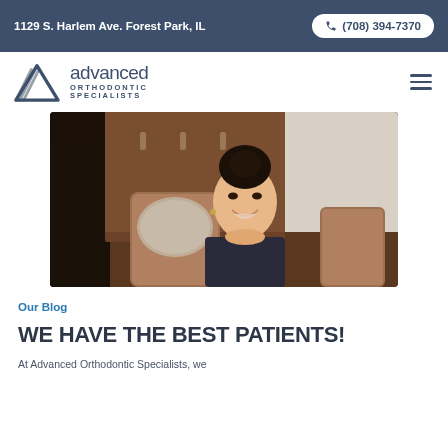1129 S. Harlem Ave. Forest Park, IL | (708) 394-7370
[Figure (logo): Advanced Orthodontic Specialists logo with triangular mountain/lines icon]
[Figure (photo): A smiling young woman with dark hair in a bun sitting in a dental chair, wearing a dark shirt, in an orthodontic clinic setting]
Our Blog
WE HAVE THE BEST PATIENTS!
At Advanced Orthodontic Specialists, we